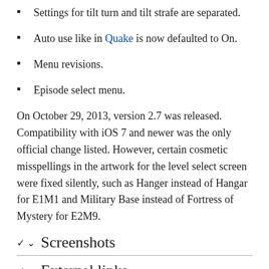Settings for tilt turn and tilt strafe are separated.
Auto use like in Quake is now defaulted to On.
Menu revisions.
Episode select menu.
On October 29, 2013, version 2.7 was released. Compatibility with iOS 7 and newer was the only official change listed. However, certain cosmetic misspellings in the artwork for the level select screen were fixed silently, such as Hanger instead of Hangar for E1M1 and Military Base instead of Fortress of Mystery for E2M9.
Screenshots
External links